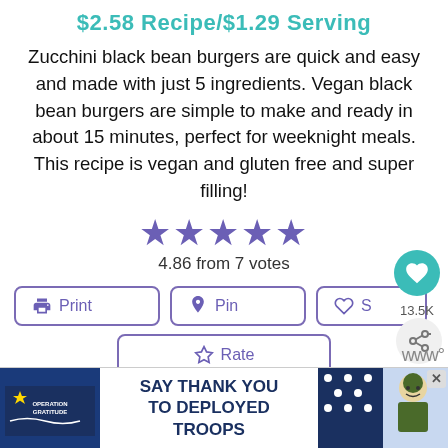$2.58 Recipe/$1.29 Serving
Zucchini black bean burgers are quick and easy and made with just 5 ingredients. Vegan black bean burgers are simple to make and ready in about 15 minutes, perfect for weeknight meals. This recipe is vegan and gluten free and super filling!
4.86 from 7 votes
Print
Pin
S
Rate
WHAT'S NEXT → Mexican Black Bean Lentil...
SAY THANK YOU TO DEPLOYED TROOPS